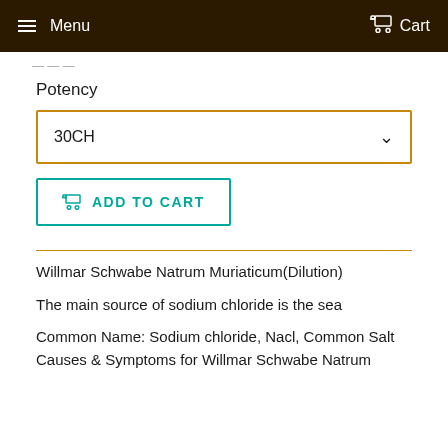Menu   Cart
Potency
30CH
ADD TO CART
Willmar Schwabe Natrum Muriaticum(Dilution)
The main source of sodium chloride is the sea
Common Name: Sodium chloride, Nacl, Common Salt
Causes & Symptoms for Willmar Schwabe Natrum